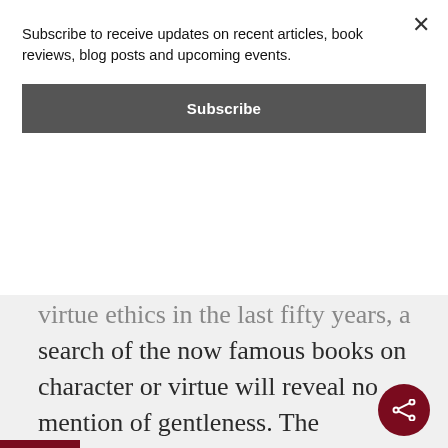Subscribe to receive updates on recent articles, book reviews, blog posts and upcoming events.
Subscribe
virtue ethics in the last fifty years, a search of the now famous books on character or virtue will reveal no mention of gentleness. The philosopher Alasdair MacIntyre published his famous work, After Virtue, and the theologian Stanley Hauerwas published his groundbreaking work, A Community